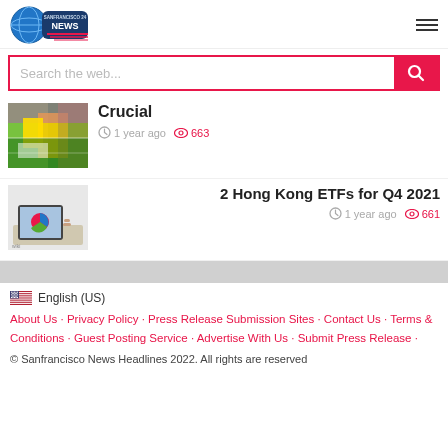San Francisco 24 News
Search the web...
[Figure (photo): Thumbnail image for article: Crucial — colorful blurred image with yellow objects]
Crucial
1 year ago  663
[Figure (photo): Thumbnail image for article: 2 Hong Kong ETFs for Q4 2021 — person touching tablet displaying chart]
2 Hong Kong ETFs for Q4 2021
1 year ago  661
🇺🇸 English (US)
About Us · Privacy Policy · Press Release Submission Sites · Contact Us · Terms & Conditions · Guest Posting Service · Advertise With Us · Submit Press Release ·
© Sanfrancisco News Headlines 2022. All rights are reserved